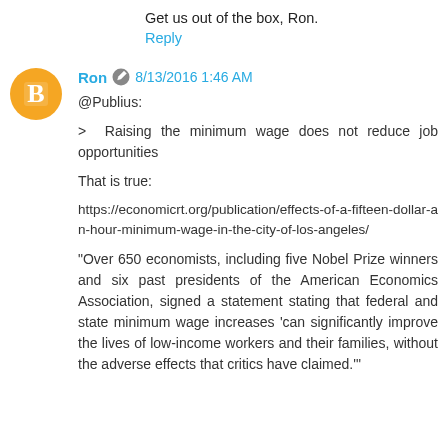Get us out of the box, Ron.
Reply
Ron 8/13/2016 1:46 AM
@Publius:

> Raising the minimum wage does not reduce job opportunities

That is true:

https://economicrt.org/publication/effects-of-a-fifteen-dollar-an-hour-minimum-wage-in-the-city-of-los-angeles/

"Over 650 economists, including five Nobel Prize winners and six past presidents of the American Economics Association, signed a statement stating that federal and state minimum wage increases 'can significantly improve the lives of low-income workers and their families, without the adverse effects that critics have claimed.'"